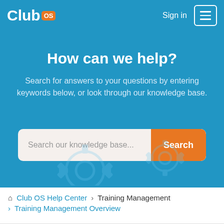[Figure (logo): Club OS logo with orange 'OS' badge in top-left of blue header bar]
Sign in
[Figure (other): Hamburger menu button with three horizontal lines, white border rounded rectangle]
How can we help?
Search for answers to your questions by entering keywords below, or look through our knowledge base.
[Figure (other): Search bar with placeholder 'Search our knowledge base...' and orange Search button]
[Figure (illustration): Decorative gear icons in lighter blue at the bottom of the blue header area]
Club OS Help Center > Training Management > Training Management Overview